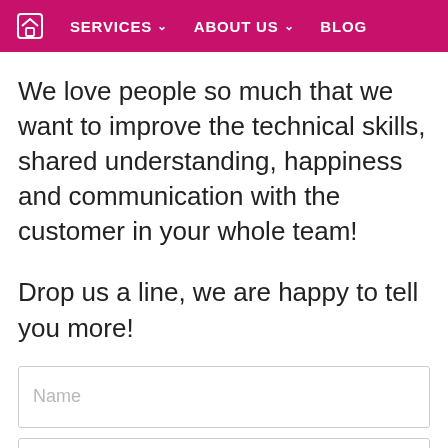🏠 SERVICES ∨  ABOUT US ∨  BLOG
We love people so much that we want to improve the technical skills, shared understanding, happiness and communication with the customer in your whole team!
Drop us a line, we are happy to tell you more!
[Figure (screenshot): Web form with Name input field (placeholder text 'Name')]
[Figure (screenshot): Web form with Email input field (placeholder text 'Email')]
[Figure (screenshot): Web form partial field at bottom of page]